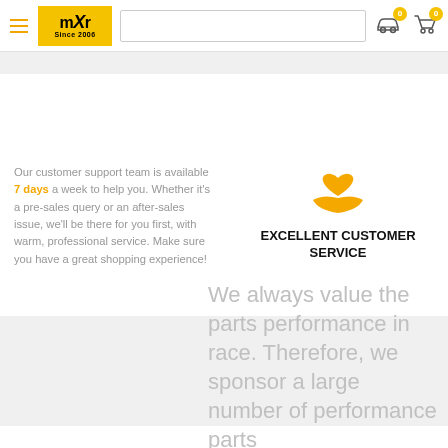[Figure (logo): mXr Since 2006 logo in yellow box, hamburger menu icon, search bar, car icon with badge 0, cart icon with badge 0]
Our customer support team is available 7 days a week to help you. Whether it's a pre-sales query or an after-sales issue, we'll be there for you first, with warm, professional service. Make sure you have a great shopping experience!
[Figure (illustration): Orange/yellow hand holding a heart icon representing customer service]
EXCELLENT CUSTOMER SERVICE
We always value the parts performance in race. Therefore, we sponsor a large number of performance parts